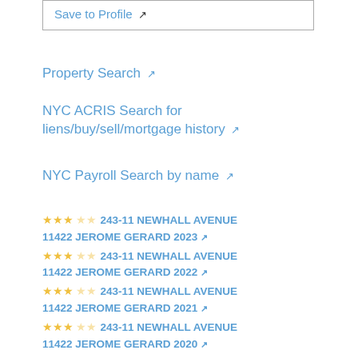Save to Profile ↗
Property Search ↗
NYC ACRIS Search for liens/buy/sell/mortgage history ↗
NYC Payroll Search by name ↗
★★★☆☆ 243-11 NEWHALL AVENUE 11422 JEROME GERARD 2023 ↗
★★★☆☆ 243-11 NEWHALL AVENUE 11422 JEROME GERARD 2022 ↗
★★★☆☆ 243-11 NEWHALL AVENUE 11422 JEROME GERARD 2021 ↗
★★★☆☆ 243-11 NEWHALL AVENUE 11422 JEROME GERARD 2020 ↗